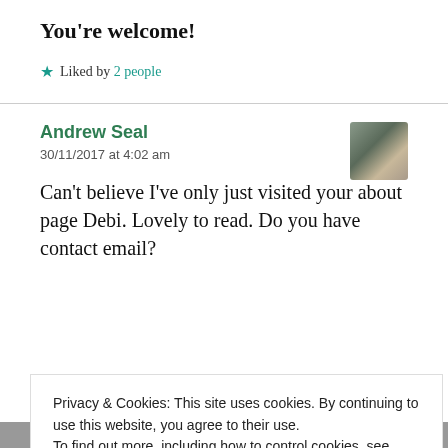You're welcome!
★ Liked by 2 people
Andrew Seal
30/11/2017 at 4:02 am
Can't believe I've only just visited your about page Debi. Lovely to read. Do you have contact email?
Privacy & Cookies: This site uses cookies. By continuing to use this website, you agree to their use.
To find out more, including how to control cookies, see here: Cookie Policy
Close and accept